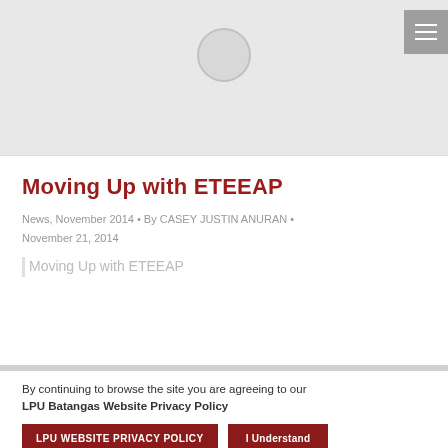[Figure (screenshot): Top grey banner area with a circular icon/avatar placeholder in the center and a hamburger menu button in the top right corner]
Moving Up with ETEEAP
News, November 2014 • By CASEY JUSTIN ANURAN • November 21, 2014
Moving Up with ETEEAP
By continuing to browse the site you are agreeing to our LPU Batangas Website Privacy Policy
LPU WEBSITE PRIVACY POLICY
I Understand